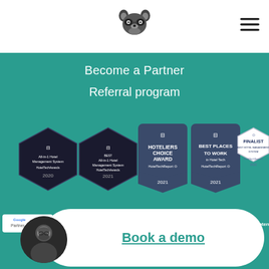[Figure (logo): Raccoon logo icon in dark gray]
[Figure (illustration): Hamburger menu icon (three horizontal bars)]
Become a Partner
Referral program
[Figure (illustration): Five award badges: All-in-1 Hotel Management System HotelTechAwards 2020, Best All-in-1 Hotel Management System HotelTechAwards 2021, Hoteliers Choice Award HotelTechReport 2021, Best Places to Work in Hotel Tech HotelTechReport 2021, Finalist Best Hotel Management System HotelTechReport 2022]
[Figure (illustration): Partner logos row: Google Partner, Booking.com 2021 Premier Partner, Trustpilot 5 stars, Verified by HotelTechReport, star ratings, Capterra]
[Figure (photo): Circular photo of a man in a black shirt]
Book a demo